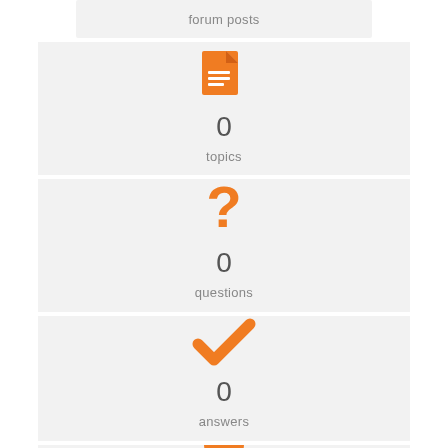forum posts
[Figure (infographic): Orange document/file icon]
0
topics
[Figure (infographic): Orange question mark icon]
0
questions
[Figure (infographic): Orange checkmark icon]
0
answers
[Figure (infographic): Orange icon partially visible at bottom]